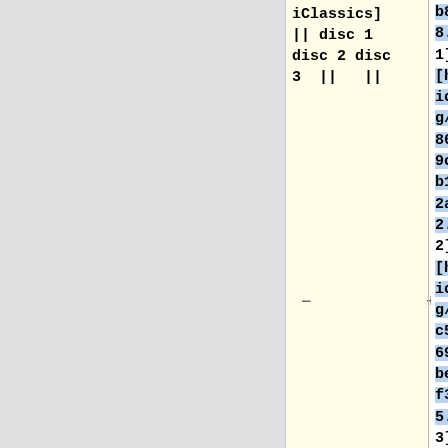iClassics] || disc 1 disc 2 disc 3 || ||
b8dc5b16fec8.html disc 1] [http://musicbrainz.org/release/68662066-9c49-4c12-b19c-2aaf08c542f2.html disc 2] [http://musicbrainz.org/release/ec566dc5-6995-4a71-bee9-f310b8ff1595.html disc 3] || || 2009-08-03